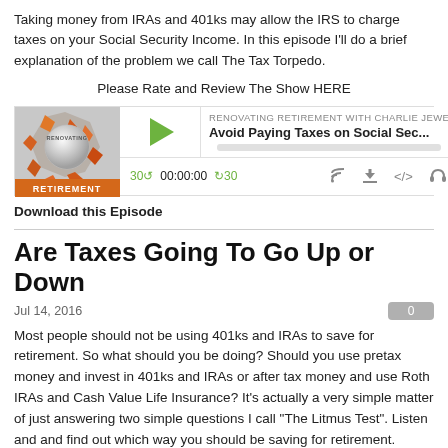Taking money from IRAs and 401ks may allow the IRS to charge taxes on your Social Security Income. In this episode I'll do a brief explanation of the problem we call The Tax Torpedo.
Please Rate and Review The Show HERE
[Figure (screenshot): Podcast player widget for 'Renovating Retirement with Charlie Jewe' episode titled 'Avoid Paying Taxes on Social Sec...' with play button, progress bar, and playback controls showing 30-second skip, 00:00:00 timestamp, and icons for share, download, embed, and headphones.]
Download this Episode
Are Taxes Going To Go Up or Down
Jul 14, 2016
Most people should not be using 401ks and IRAs to save for retirement. So what should you be doing? Should you use pretax money and invest in 401ks and IRAs or after tax money and use Roth IRAs and Cash Value Life Insurance? It's actually a very simple matter of just answering two simple questions I call "The Litmus Test". Listen and and find out which way you should be saving for retirement.